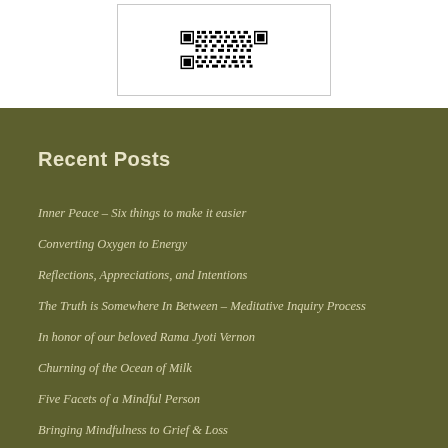[Figure (other): QR code inside a bordered box]
Recent Posts
Inner Peace – Six things to make it easier
Converting Oxygen to Energy
Reflections, Appreciations, and Intentions
The Truth is Somewhere In Between – Meditative Inquiry Process
In honor of our beloved Rama Jyoti Vernon
Churning of the Ocean of Milk
Five Facets of a Mindful Person
Bringing Mindfulness to Grief & Loss